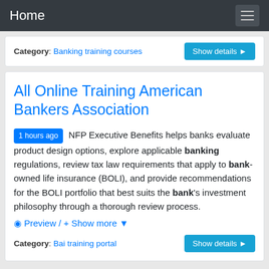Home
Category: Banking training courses
All Online Training American Bankers Association
1 hours ago  NFP Executive Benefits helps banks evaluate product design options, explore applicable banking regulations, review tax law requirements that apply to bank-owned life insurance (BOLI), and provide recommendations for the BOLI portfolio that best suits the bank's investment philosophy through a thorough review process.
Preview / Show more
Category: Bai training portal